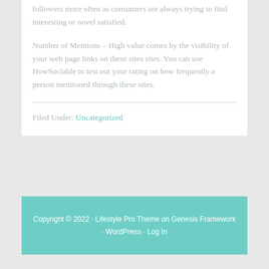followers more often as consumers are always trying to find interesting or novel satisfied.
Number of Mentions – High value comes by the visibility of your web page links on these sites sites. You can use HowSociable to test out your rating on how frequently a person mentioned through these sites.
Filed Under: Uncategorized
Copyright © 2022 · Lifestyle Pro Theme on Genesis Framework · WordPress · Log In